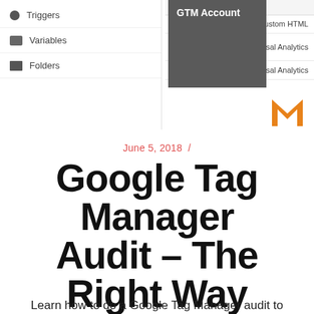[Figure (screenshot): Google Tag Manager interface screenshot showing sidebar with Triggers, Variables, Folders items, a dark dropdown overlay labeled 'GTM Account', and a tags panel with Custom HTML and Universal Analytics tag types listed. An orange M logo appears in the corner.]
June 5, 2018  /
Google Tag Manager Audit – The Right Way
Learn how to do a Google Tag Manager audit to